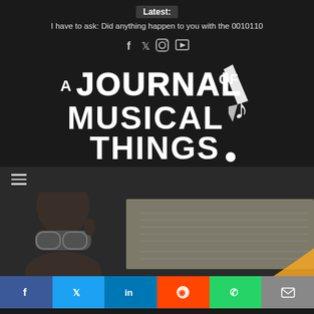Latest:
I have to ask: Did anything happen to you with the 0010110
[Figure (other): Social media icons: Facebook, Twitter, Instagram, YouTube]
[Figure (logo): A Journal of Musical Things logo with stylized text and pen/musical note illustration]
[Figure (other): Hamburger menu icon (three horizontal lines)]
[Figure (photo): Man with glasses looking down at sheet music]
[Figure (other): Share bar with Facebook, Twitter, LinkedIn, Reddit, WhatsApp, Email buttons]